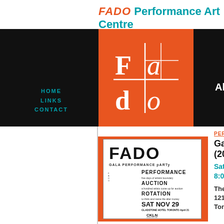FADO Performance Art Centre
HOME
LINKS
CONTACT
[Figure (logo): FADO logo in white on orange background, stylized letters F, a, d, o in a grid with crosshairs]
About
Programming
[Figure (photo): FADO Gala Performance pARTy poster in black and white, featuring the word FADO in large letters at the top, text about performance, auction, rotation, date SAT NOV 29, Gladstone Hotel Toronto, and CKLN radio logo at bottom]
PERFORMANCE
Gala Performance (2003)
Saturday / Nov 29 8:00 pm
The Gladstone Ho 1214 Queen Street Toronto